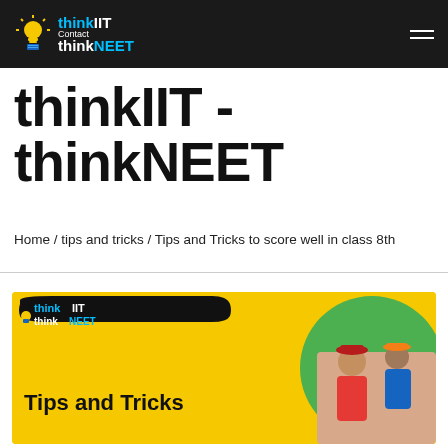thinkIIT thinkNEET Contact
thinkIIT - thinkNEET
Home / tips and tricks / Tips and Tricks to score well in class 8th
[Figure (screenshot): Yellow banner card with thinkIIT thinkNEET logo and 'Tips and Tricks' text, with students photo on right side]